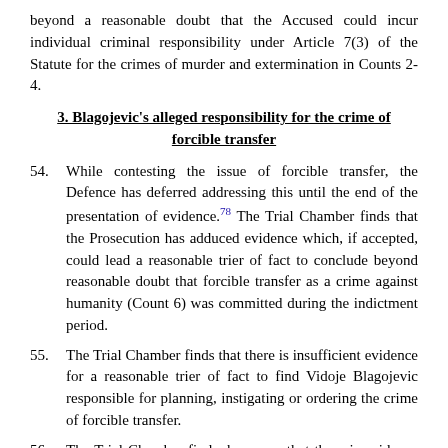beyond a reasonable doubt that the Accused could incur individual criminal responsibility under Article 7(3) of the Statute for the crimes of murder and extermination in Counts 2-4.
3. Blagojevic's alleged responsibility for the crime of forcible transfer
54. While contesting the issue of forcible transfer, the Defence has deferred addressing this until the end of the presentation of evidence.[78] The Trial Chamber finds that the Prosecution has adduced evidence which, if accepted, could lead a reasonable trier of fact to conclude beyond reasonable doubt that forcible transfer as a crime against humanity (Count 6) was committed during the indictment period.
55. The Trial Chamber finds that there is insufficient evidence for a reasonable trier of fact to find Vidoje Blagojevic responsible for planning, instigating or ordering the crime of forcible transfer.
56. The Trial Chamber finds, however, that there is evidence that could lead a reasonable trier of fact to conclude that the forcible transfer of Bosnian Muslim refugees was part of an organised and well executed operation. The Trial Chamber